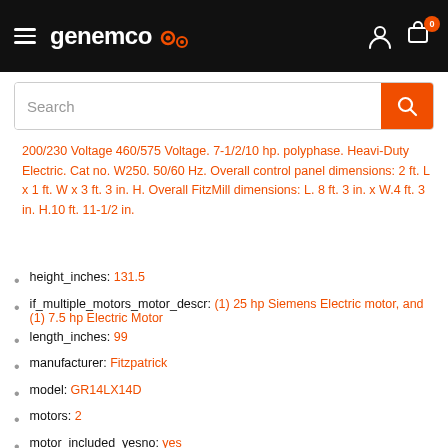genemco — navigation header with search bar
200/230 Voltage 460/575 Voltage. 7-1/2/10 hp. polyphase. Heavi-Duty Electric. Cat no. W250. 50/60 Hz. Overall control panel dimensions: 2 ft. L x 1 ft. W x 3 ft. 3 in. H. Overall FitzMill dimensions: L. 8 ft. 3 in. x W.4 ft. 3 in. H.10 ft. 11-1/2 in.
height_inches: 131.5
if_multiple_motors_motor_descr: (1) 25 hp Siemens Electric motor, and (1) 7.5 hp Electric Motor
length_inches: 99
manufacturer: Fitzpatrick
model: GR14LX14D
motors: 2
motor_included_yesno: yes